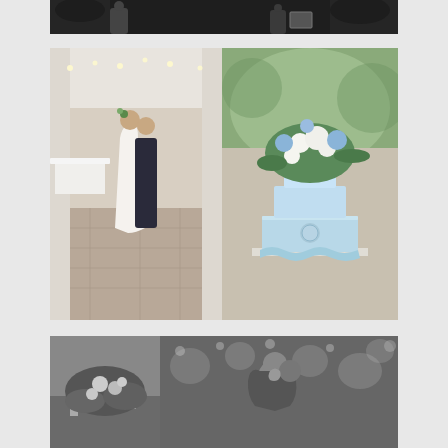[Figure (photo): Black and white wedding photo showing two people, one holding a frame or box, outdoors]
[Figure (photo): Color photo of bride and groom sharing first dance inside a tented reception venue with string lights]
[Figure (photo): Color photo of a light blue wedding cake with a floral arrangement of white and blue hydrangeas on top]
[Figure (photo): Black and white photo of floral centerpiece with candles on a table]
[Figure (photo): Black and white photo of couple embracing on dance floor with bokeh string lights in background]